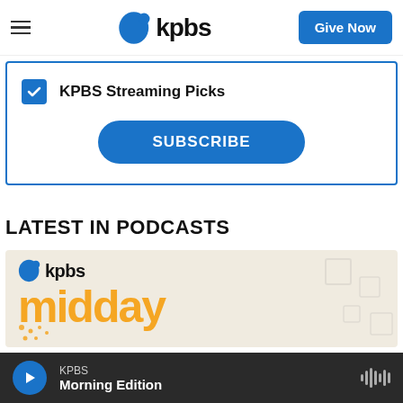kpbs | Give Now
KPBS Streaming Picks
SUBSCRIBE
LATEST IN PODCASTS
[Figure (logo): KPBS Midday Edition podcast cover image showing the kpbs logo bubble mark with 'kpbs' wordmark and 'midday' in large orange text]
KPBS Morning Edition (player bar)